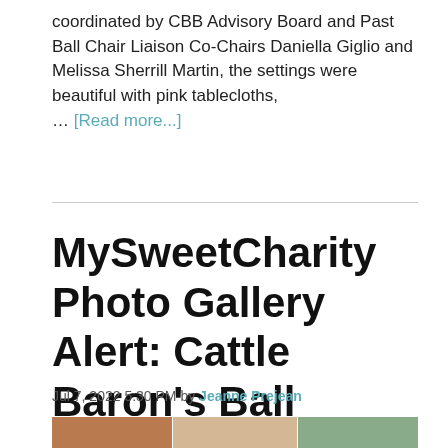coordinated by CBB Advisory Board and Past Ball Chair Liaison Co-Chairs Daniella Giglio and Melissa Sherrill Martin, the settings were beautiful with pink tablecloths, … [Read more...]
MySweetCharity Photo Gallery Alert: Cattle Baron's Ball Former Chairmen's Luncheon
Jul 7, 2022 5:30 PM by Jeanne Prejean
[Figure (photo): Photo strip showing attendees at Cattle Baron's Ball Former Chairmen's Luncheon]